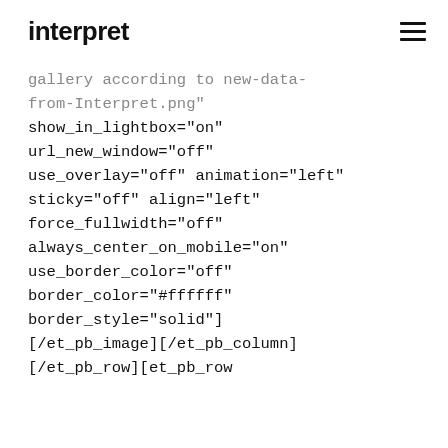interpret
gallery according to new-data-from-Interpret.png"
show_in_lightbox="on"
url_new_window="off"
use_overlay="off" animation="left"
sticky="off" align="left"
force_fullwidth="off"
always_center_on_mobile="on"
use_border_color="off"
border_color="#ffffff"
border_style="solid"]
[/et_pb_image][/et_pb_column]
[/et_pb_row][et_pb_row